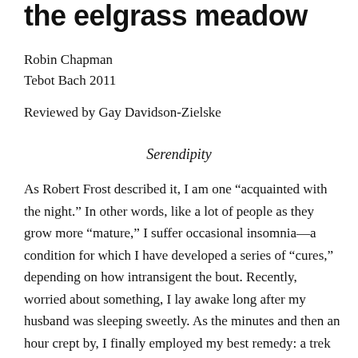the eelgrass meadow
Robin Chapman
Tebot Bach 2011
Reviewed by Gay Davidson-Zielske
Serendipity
As Robert Frost described it, I am one “acquainted with the night.” In other words, like a lot of people as they grow more “mature,” I suffer occasional insomnia—a condition for which I have developed a series of “cures,” depending on how intransigent the bout. Recently, worried about something, I lay awake long after my husband was sleeping sweetly. As the minutes and then an hour crept by, I finally employed my best remedy: a trek down to the chilly kitchen for a cup of warmed milk. Nearly always, if I am patient, this lulls me softly back to